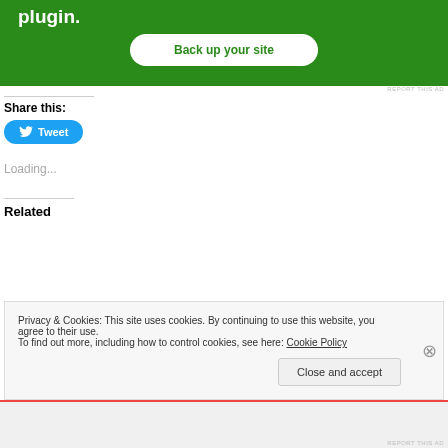[Figure (screenshot): Green advertisement banner with 'plugin.' text and a 'Back up your site' white button. 'REPORT THIS AD' link in bottom right.]
REPORT THIS AD
Share this:
[Figure (other): Twitter Tweet button (blue rounded rectangle with bird icon and 'Tweet' text)]
Loading...
Related
Privacy & Cookies: This site uses cookies. By continuing to use this website, you agree to their use.
To find out more, including how to control cookies, see here: Cookie Policy
Close and accept